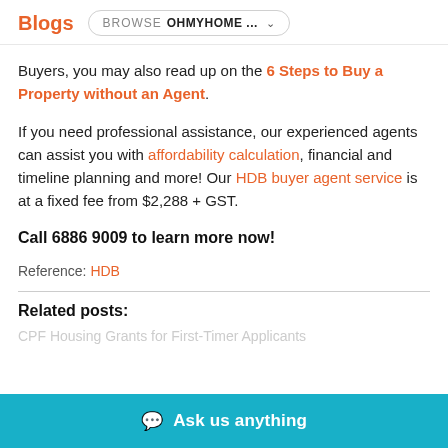Blogs  BROWSE  OHMYHOME ...
Buyers, you may also read up on the 6 Steps to Buy a Property without an Agent.
If you need professional assistance, our experienced agents can assist you with affordability calculation, financial and timeline planning and more! Our HDB buyer agent service is at a fixed fee from $2,288 + GST.
Call 6886 9009 to learn more now!
Reference: HDB
Related posts:
CPF Housing Grants for First-Timer Applicants